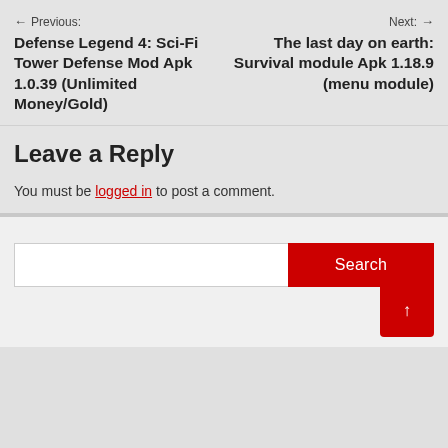← Previous: Defense Legend 4: Sci-Fi Tower Defense Mod Apk 1.0.39 (Unlimited Money/Gold)
Next: → The last day on earth: Survival module Apk 1.18.9 (menu module)
Leave a Reply
You must be logged in to post a comment.
[Figure (other): Search input field with red Search button and red scroll-to-top button with upward arrow]